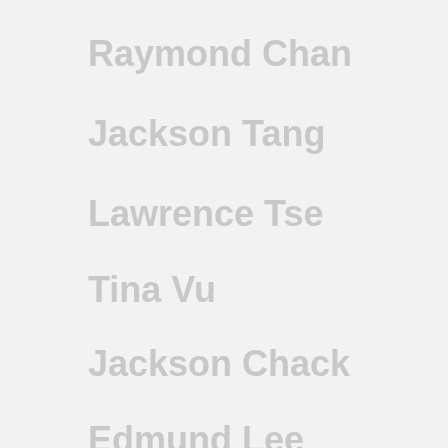Raymond Chan
Jackson Tang
Lawrence Tse
Tina Vu
Jackson Chack
Edmund Lee
Legal Advisor
Jenny Yip